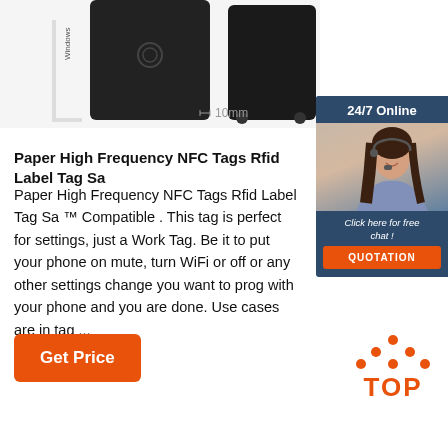[Figure (photo): Black NFC/RFID devices/tags shown from different angles with a 10mm dimension indicator]
[Figure (photo): 24/7 Online chat widget with a smiling customer service representative wearing a headset, a 'Click here for free chat!' message, and an orange QUOTATION button]
Paper High Frequency NFC Tags Rfid Label Tag Sa
Paper High Frequency NFC Tags Rfid Label Tag Sa ™ Compatible . This tag is perfect for settings, just a Work Tag. Be it to put your phone on mute, turn WiFi or off or any other settings change you want to prog with your phone and you are done. Use cases are in tag ...
[Figure (other): Orange 'Get Price' button]
[Figure (other): Orange TOP badge with dots above the text]